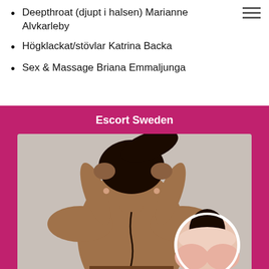Deepthroat (djupt i halsen) Marianne Alvkarleby
Högklackat/stövlar Katrina Backa
Sex & Massage Briana Emmaljunga
Escort Sweden
[Figure (photo): Woman photographed from behind with hands in hair, with a circular inset photo of another woman in bottom right corner]